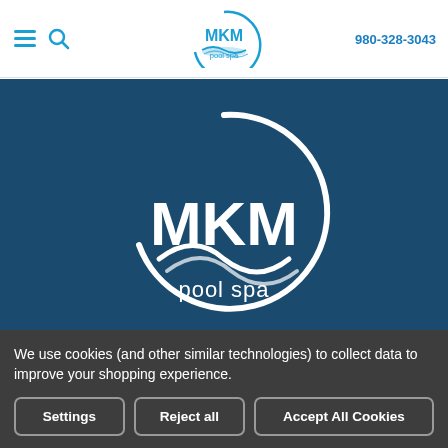MKM pool spa — 980-328-3043
[Figure (logo): MKM Pool Spa logo — large white circular logo with MKM text and pool spa tagline on dark blue background]
© 2022 MKM Pool Spa
All right reserved
We use cookies (and other similar technologies) to collect data to improve your shopping experience.
Settings | Reject all | Accept All Cookies